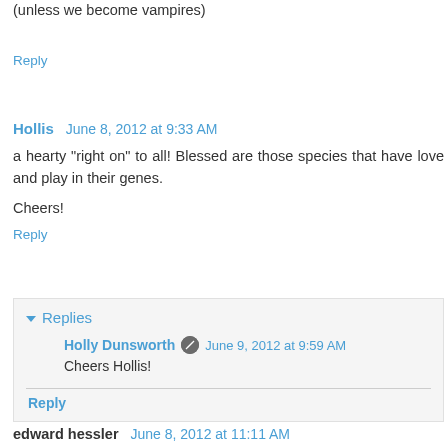(unless we become vampires)
Reply
Hollis  June 8, 2012 at 9:33 AM
a hearty "right on" to all! Blessed are those species that have love and play in their genes.

Cheers!
Reply
Replies
Holly Dunsworth  June 9, 2012 at 9:59 AM
Cheers Hollis!
Reply
edward hessler  June 8, 2012 at 11:11 AM